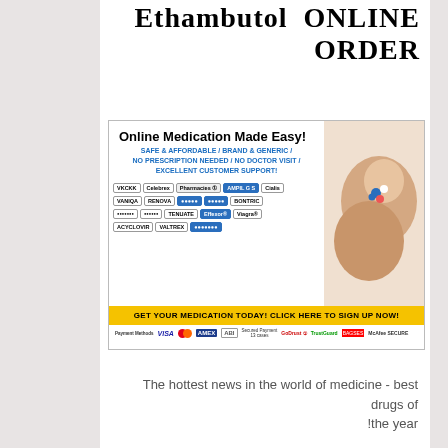Ethambutol ONLINE ORDER
[Figure (advertisement): Online pharmacy advertisement: 'Online Medication Made Easy!' with pill brands listed, hands holding pills image, CTA 'GET YOUR MEDICATION TODAY! CLICK HERE TO SIGN UP NOW!' and payment method logos]
The hottest news in the world of medicine - best drugs of the year!